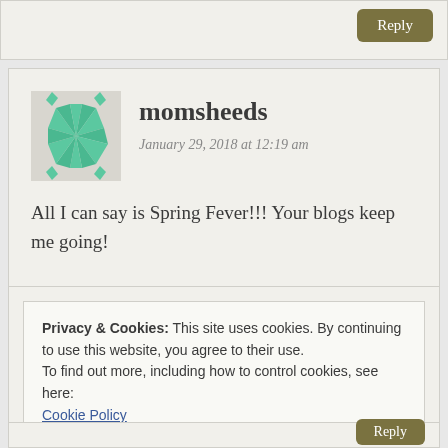[Figure (other): Partial reply button at top of page from previous comment]
momsheeds
January 29, 2018 at 12:19 am
All I can say is Spring Fever!!! Your blogs keep me going!
Loading...
Reply
Privacy & Cookies: This site uses cookies. By continuing to use this website, you agree to their use.
To find out more, including how to control cookies, see here:
Cookie Policy
Close and accept